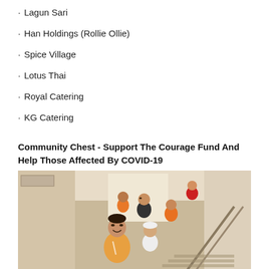Lagun Sari
Han Holdings (Rollie Ollie)
Spice Village
Lotus Thai
Royal Catering
KG Catering
Community Chest - Support The Courage Fund And Help Those Affected By COVID-19
[Figure (photo): Group of people walking up a staircase, with a smiling man in an orange shirt in the foreground, and others behind him including people in orange, black, red shirts and a person with a white cap.]